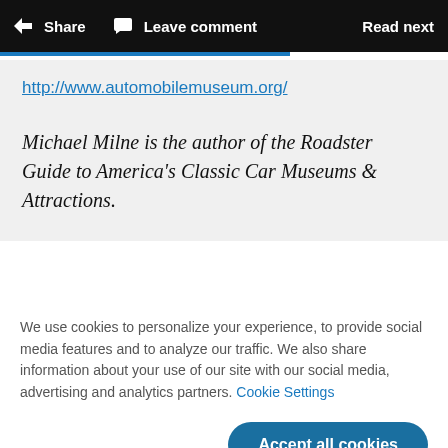Share  Leave comment  Read next
http://www.automobilemuseum.org/
Michael Milne is the author of the Roadster Guide to America's Classic Car Museums & Attractions.
We use cookies to personalize your experience, to provide social media features and to analyze our traffic. We also share information about your use of our site with our social media, advertising and analytics partners. Cookie Settings
Accept all cookies